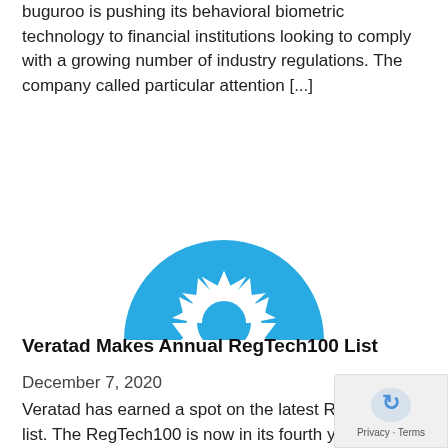buguroo is pushing its behavioral biometric technology to financial institutions looking to comply with a growing number of industry regulations. The company called particular attention [...]
[Figure (logo): Veratad logo: a blue semicircle (half-circle) with a white sun/gear icon in the center — consisting of radiating triangular spikes and a circular cutout in the middle]
Veratad Makes Annual RegTech100 List
December 7, 2020
Veratad has earned a spot on the latest RegTech100 list. The RegTech100 is now in its fourth year, and was to recognize technology [...]